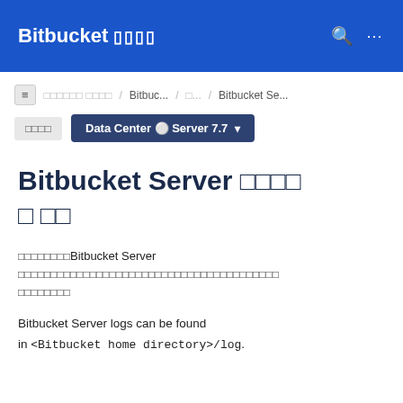Bitbucket ????
?????? ???? / Bitbuc... / ?... / Bitbucket Se...
???? Data Center ? Server 7.7
Bitbucket Server ????? ??
????????Bitbucket Server ?????????????????????????????????????????
Bitbucket Server logs can be found in <Bitbucket home directory>/log.